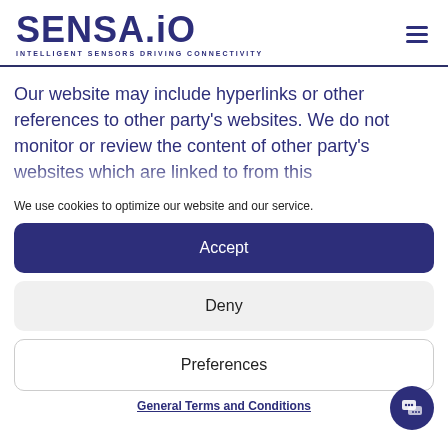SENSA.iO — INTELLIGENT SENSORS DRIVING CONNECTIVITY
Our website may include hyperlinks or other references to other party's websites. We do not monitor or review the content of other party's websites which are linked to from this
We use cookies to optimize our website and our service.
Accept
Deny
Preferences
General Terms and Conditions